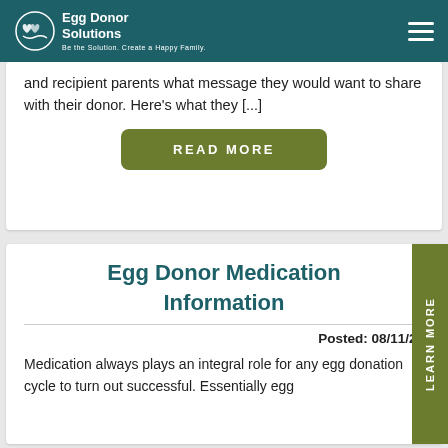Egg Donor Solutions
and recipient parents what message they would want to share with their donor. Here's what they [...]
READ MORE
Egg Donor Medication Information
Posted: 08/11/22
Medication always plays an integral role for any egg donation cycle to turn out successful. Essentially egg